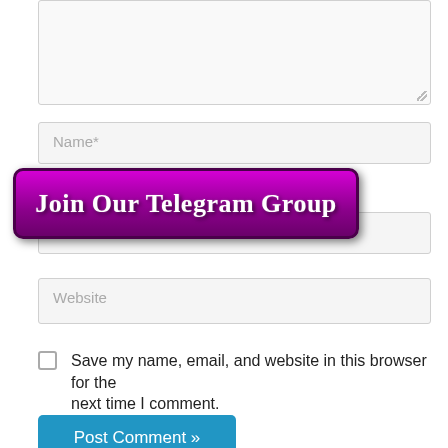[Figure (screenshot): Textarea input box (comment field), partially visible at top]
Name*
[Figure (other): Join Our Telegram Group promotional banner button, purple gradient background with white bold text]
Email*
Website
Save my name, email, and website in this browser for the next time I comment.
Post Comment »